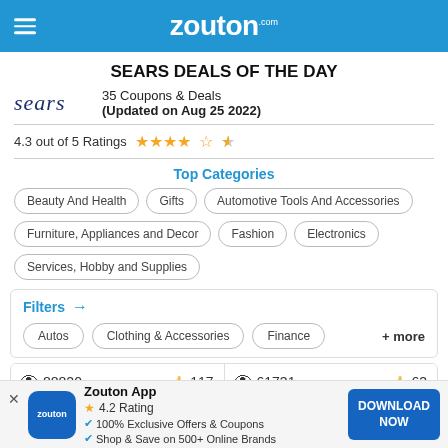zouton.com
SEARS DEALS OF THE DAY
35 Coupons & Deals
(Updated on Aug 25 2022)
4.3 out of 5 Ratings ★★★★½
Top Categories
Beauty And Health
Gifts
Automotive Tools And Accessories
Furniture, Appliances and Decor
Fashion
Electronics
Services, Hobby and Supplies
Filters →
Autos   Clothing & Accessories   Finance   + more
👁 88820   👍 117
👁 61731   👍 63
Zouton App
4.2 Rating
100% Exclusive Offers & Coupons
Shop & Save on 500+ Online Brands
DOWNLOAD NOW